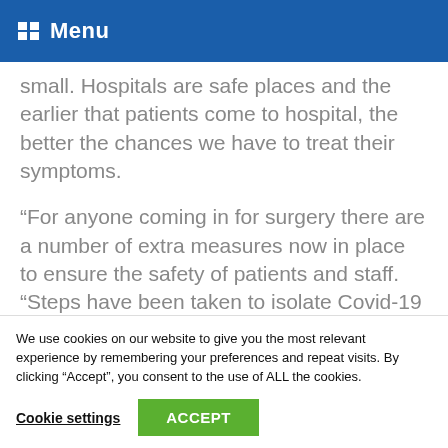Menu
small. Hospitals are safe places and the earlier that patients come to hospital, the better the chances we have to treat their symptoms.
“For anyone coming in for surgery there are a number of extra measures now in place to ensure the safety of patients and staff. “Steps have been taken to isolate Covid-19 patients and make sure that the rest of the hospital is safe for other patients.
We use cookies on our website to give you the most relevant experience by remembering your preferences and repeat visits. By clicking “Accept”, you consent to the use of ALL the cookies.
Cookie settings
ACCEPT